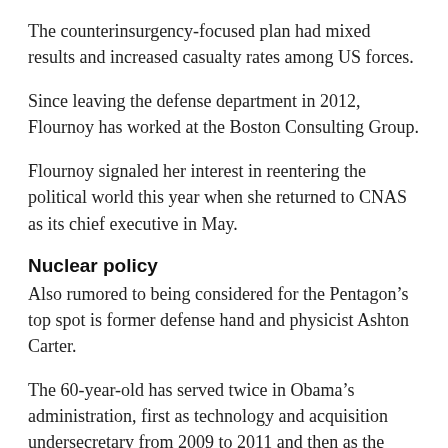The counterinsurgency-focused plan had mixed results and increased casualty rates among US forces.
Since leaving the defense department in 2012, Flournoy has worked at the Boston Consulting Group.
Flournoy signaled her interest in reentering the political world this year when she returned to CNAS as its chief executive in May.
Nuclear policy
Also rumored to being considered for the Pentagon’s top spot is former defense hand and physicist Ashton Carter.
The 60-year-old has served twice in Obama’s administration, first as technology and acquisition undersecretary from 2009 to 2011 and then as the Pentagon number two, deputy secretary of defense.